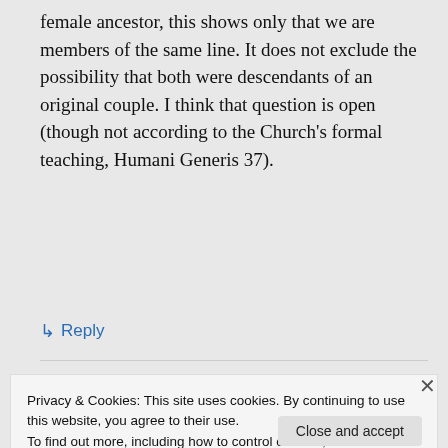female ancestor, this shows only that we are members of the same line. It does not exclude the possibility that both were descendants of an original couple. I think that question is open (though not according to the Church's formal teaching, Humani Generis 37).
↳ Reply
Privacy & Cookies: This site uses cookies. By continuing to use this website, you agree to their use.
To find out more, including how to control cookies, see here: Cookie Policy